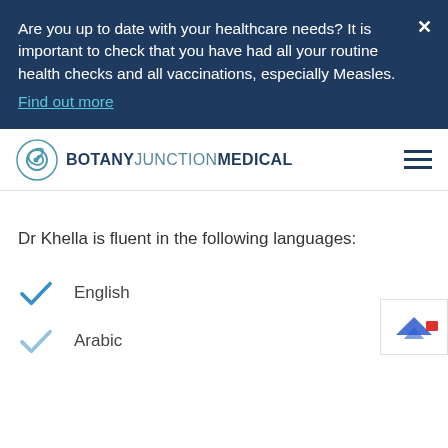Are you up to date with your healthcare needs? It is important to check that you have had all your routine health checks and all vaccinations, especially Measles. Find out more
[Figure (logo): Botany Junction Medical logo with spiral graphic]
Dr Khella is fluent in the following languages:
English
Arabic